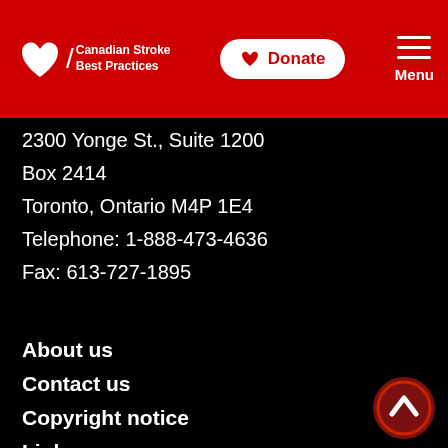Canadian Stroke Best Practices | Donate | Menu
2300 Yonge St., Suite 1200
Box 2414
Toronto, Ontario M4P 1E4
Telephone: 1-888-473-4636
Fax: 613-727-1895
About us
Contact us
Copyright notice
Links
Privacy Policy
Terms of use